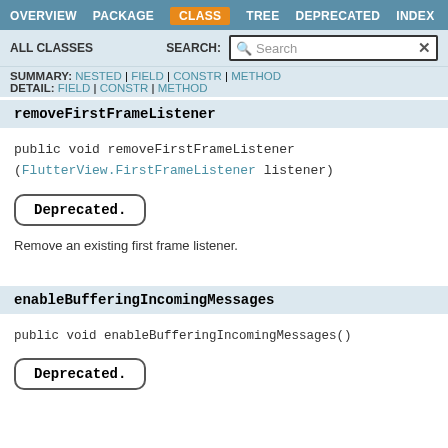OVERVIEW | PACKAGE | CLASS | TREE | DEPRECATED | INDEX
ALL CLASSES   SEARCH:
SUMMARY: NESTED | FIELD | CONSTR | METHOD
DETAIL: FIELD | CONSTR | METHOD
removeFirstFrameListener
public void removeFirstFrameListener
(FlutterView.FirstFrameListener listener)
Deprecated.
Remove an existing first frame listener.
enableBufferingIncomingMessages
public void enableBufferingIncomingMessages()
Deprecated.